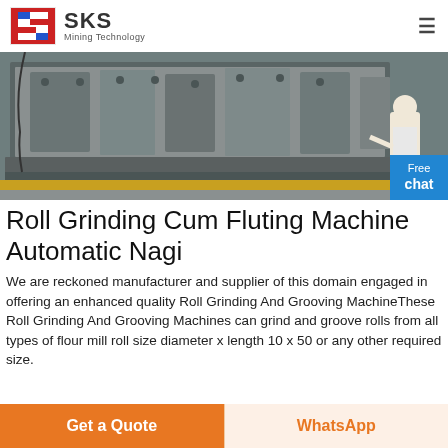SKS Mining Technology
[Figure (photo): Industrial roll grinding machine with heavy grey metal frame components, viewed from side angle in a workshop/factory setting with yellow floor marking visible]
Roll Grinding Cum Fluting Machine Automatic Nagi
We are reckoned manufacturer and supplier of this domain engaged in offering an enhanced quality Roll Grinding And Grooving MachineThese Roll Grinding And Grooving Machines can grind and groove rolls from all types of flour mill roll size diameter x length 10 x 50 or any other required size.
Get a Quote
WhatsApp